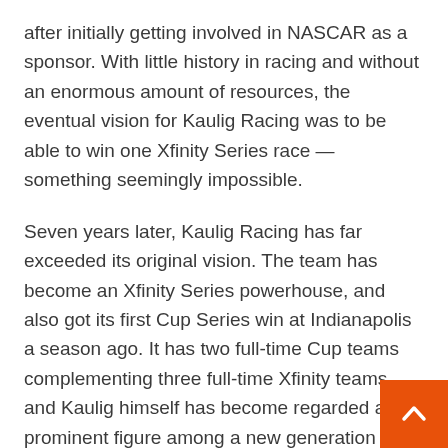after initially getting involved in NASCAR as a sponsor. With little history in racing and without an enormous amount of resources, the eventual vision for Kaulig Racing was to be able to win one Xfinity Series race — something seemingly impossible.
Seven years later, Kaulig Racing has far exceeded its original vision. The team has become an Xfinity Series powerhouse, and also got its first Cup Series win at Indianapolis a season ago. It has two full-time Cup teams complementing three full-time Xfinity teams, and Kaulig himself has become regarded as a prominent figure among a new generation of young and forward-thinking NASCAR car owners, something he could hardly have envisioned a short few years
“We have far exceeded our expectations,” Kaulig told